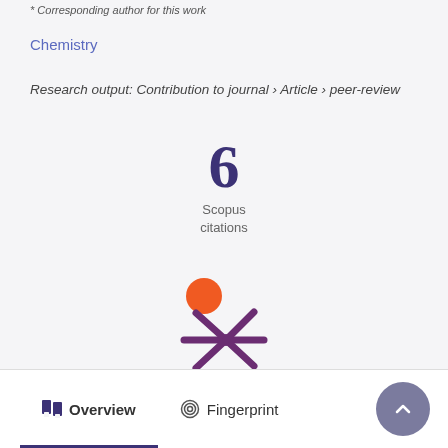* Corresponding author for this work
Chemistry
Research output: Contribution to journal › Article › peer-review
[Figure (infographic): Scopus citations count: 6, displayed in large purple numeral with 'Scopus citations' label below]
[Figure (logo): Altmetric logo: orange circle with purple asterisk/snowflake shape]
Overview
Fingerprint